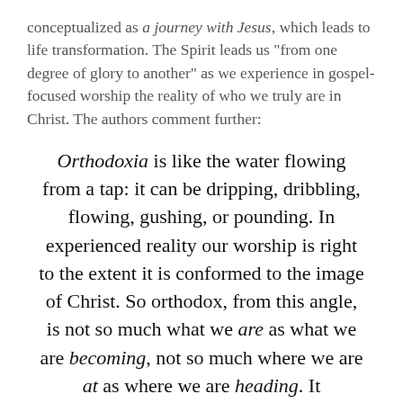conceptualized as a journey with Jesus, which leads to life transformation. The Spirit leads us "from one degree of glory to another" as we experience in gospel-focused worship the reality of who we truly are in Christ. The authors comment further:
Orthodoxia is like the water flowing from a tap: it can be dripping, dribbling, flowing, gushing, or pounding. In experienced reality our worship is right to the extent it is conformed to the image of Christ. So orthodox, from this angle, is not so much what we are as what we are becoming, not so much where we are at as where we are heading. It